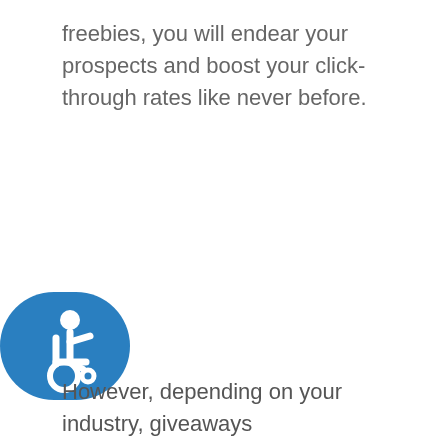freebies, you will endear your prospects and boost your click-through rates like never before.
[Figure (logo): Blue rounded rectangle with white wheelchair accessibility icon (person in wheelchair symbol)]
However, depending on your industry, giveaways